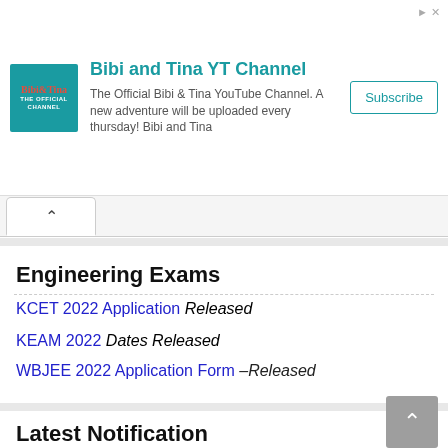[Figure (other): Advertisement banner for Bibi and Tina YT Channel with teal logo icon, title, description text and Subscribe button]
KCET 2022 Application Released
KEAM 2022 Dates Released
WBJEE 2022 Application Form –Released
Engineering Exams
Latest Notification
WB SET 2023
RUHS Nursing Admission 2022-23